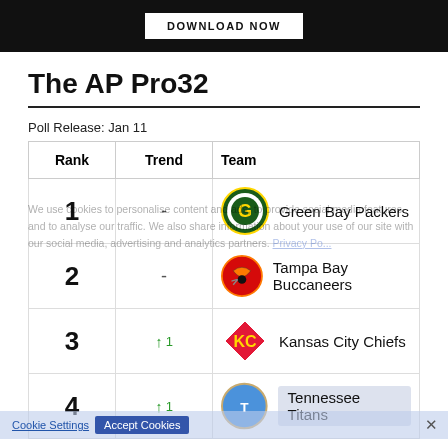[Figure (screenshot): Dark banner with DOWNLOAD NOW button]
The AP Pro32
Poll Release: Jan 11
| Rank | Trend | Team |
| --- | --- | --- |
| 1 | - | Green Bay Packers |
| 2 | - | Tampa Bay Buccaneers |
| 3 | ↑ 1 | Kansas City Chiefs |
| 4 | ↑ 1 | Tennessee Titans |